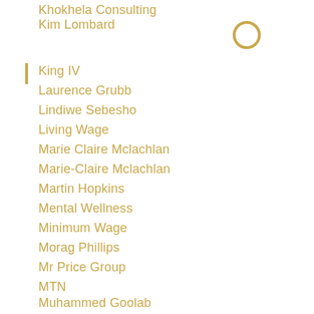Khokhela Consulting
Kim Lombard
King IV
Laurence Grubb
Lindiwe Sebesho
Living Wage
Marie Claire Mclachlan
Marie-Claire Mclachlan
Martin Hopkins
Mental Wellness
Minimum Wage
Morag Phillips
Mr Price Group
MTN
Muhammed Goolab
Nazlie Samodien
Negotiating Salary
Nicol Mullins
Openserve
Pay Discrepancies
Pay Gap